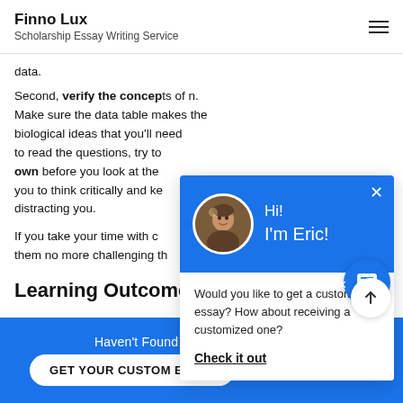Finno Lux
Scholarship Essay Writing Service
data.
Second, verify the concepts. Make sure the data table matches the biological ideas that you'll need to read the questions, try to answer on your own before you look at the answers. This will force you to think critically and keep the answers from distracting you.
If you take your time with data interpretation questions, they are no more challenging than other questions.
Learning Outcome
[Figure (screenshot): Chat popup with avatar of Eric, greeting Hi! I'm Eric!, and message: Would you like to get a custom essay? How about receiving a customized one? with Check it out link]
Haven't Found The Essay You Want?
GET YOUR CUSTOM ESSAY    For Only $13.90/page